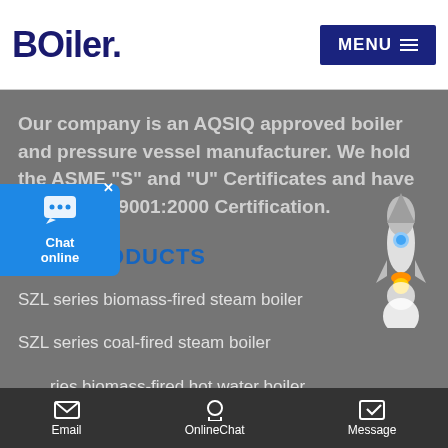BOiler. MENU
Our company is an AQSIQ approved boiler and pressure vessel manufacturer. We hold the ASME "S" and "U" Certificates and have earned ISO9001:2000 Certification.
HOT PRODUCTS
SZL series biomass-fired steam boiler
SZL series coal-fired steam boiler
SZL series biomass-fired hot water boiler
[Figure (illustration): Rocket illustration on gray background]
[Figure (screenshot): Chat online widget with blue background, close button marked X, chat bubble icon, and label Chat online]
Email  OnlineChat  Message